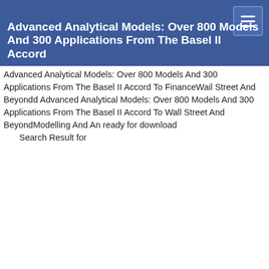Advanced Analytical Models: Over 800 Models And 300 Applications From The Basel II Accord
Advanced Analytical Models: Over 800 Models And 300 Applications From The Basel II Accord To FinanceWail Street And Beyondd Advanced Analytical Models: Over 800 Models And 300 Applications From The Basel II Accord To Wall Street And BeyondModelling And An ready for download Search Result for